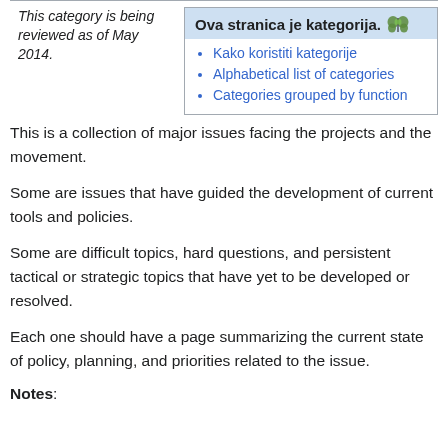This category is being reviewed as of May 2014.
Ova stranica je kategorija.
Kako koristiti kategorije
Alphabetical list of categories
Categories grouped by function
This is a collection of major issues facing the projects and the movement.
Some are issues that have guided the development of current tools and policies.
Some are difficult topics, hard questions, and persistent tactical or strategic topics that have yet to be developed or resolved.
Each one should have a page summarizing the current state of policy, planning, and priorities related to the issue.
Notes: